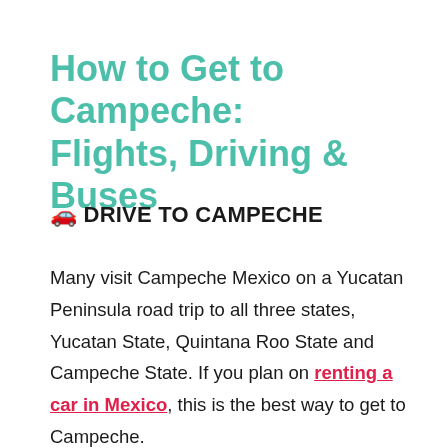How to Get to Campeche: Flights, Driving & Buses
🚗 DRIVE TO CAMPECHE
Many visit Campeche Mexico on a Yucatan Peninsula road trip to all three states, Yucatan State, Quintana Roo State and Campeche State. If you plan on renting a car in Mexico, this is the best way to get to Campeche.